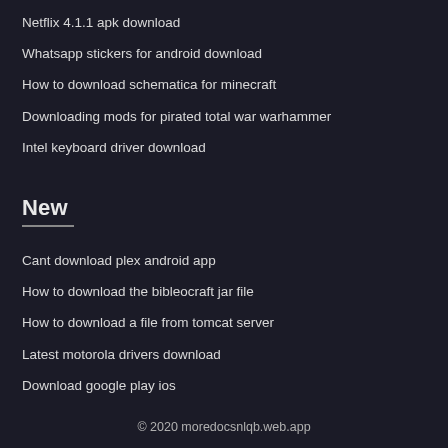Netflix 4.1.1 apk download
Whatsapp stickers for android download
How to download schematica for minecraft
Downloading mods for pirated total war warhammer
Intel keyboard driver download
New
Cant download plex android app
How to download the bibleocraft jar file
How to download a file from tomcat server
Latest motorola drivers download
Download google play ios
© 2020 moredocsnlqb.web.app